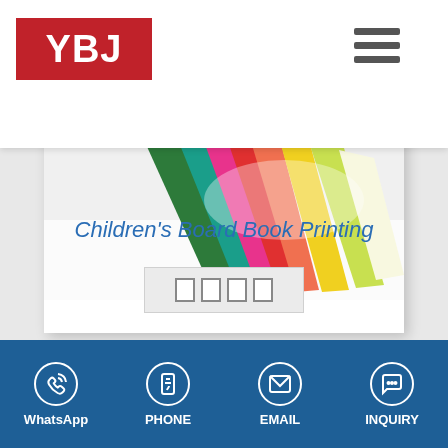[Figure (logo): YBJ logo - white letters on red background]
[Figure (other): Hamburger menu icon with three horizontal bars]
[Figure (photo): Colorful children's board books fanned out showing green, pink, red, yellow pages]
Children's Board Book Printing
[Figure (other): Read more button with four small rectangle icons]
WhatsApp  PHONE  EMAIL  INQUIRY